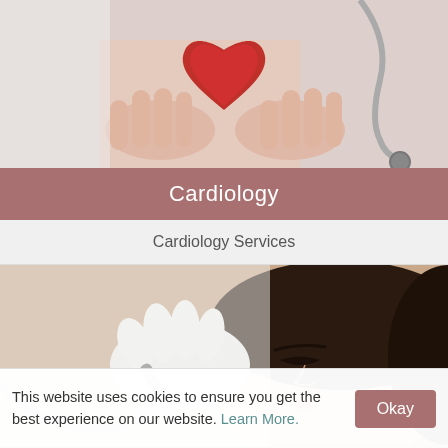[Figure (photo): Hands holding a red heart with a stethoscope in the background, representing cardiology]
Cardiology
Cardiology Services
[Figure (photo): A woman lying down receiving a cosmetic facial treatment from a practitioner wearing gloves]
Cosmetic Surgery
This website uses cookies to ensure you get the best experience on our website. Learn More.